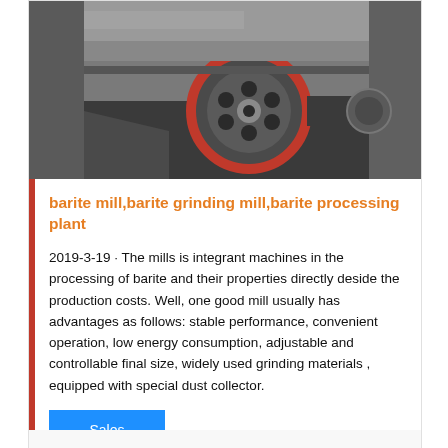[Figure (photo): Close-up photo of industrial barite grinding mill machinery showing metal components, a wheel/pulley with red rim and spoke holes, belt drive, and mechanical housing in grey tones]
barite mill,barite grinding mill,barite processing plant
2019-3-19 · The mills is integrant machines in the processing of barite and their properties directly deside the production costs. Well, one good mill usually has advantages as follows: stable performance, convenient operation, low energy consumption, adjustable and controllable final size, widely used grinding materials , equipped with special dust collector.
Sales Online